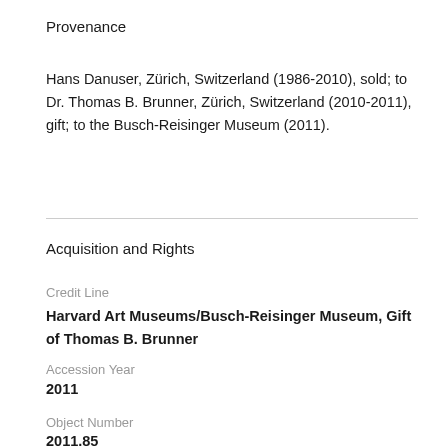Provenance
Hans Danuser, Zürich, Switzerland (1986-2010), sold; to Dr. Thomas B. Brunner, Zürich, Switzerland (2010-2011), gift; to the Busch-Reisinger Museum (2011).
Acquisition and Rights
Credit Line
Harvard Art Museums/Busch-Reisinger Museum, Gift of Thomas B. Brunner
Accession Year
2011
Object Number
2011.85